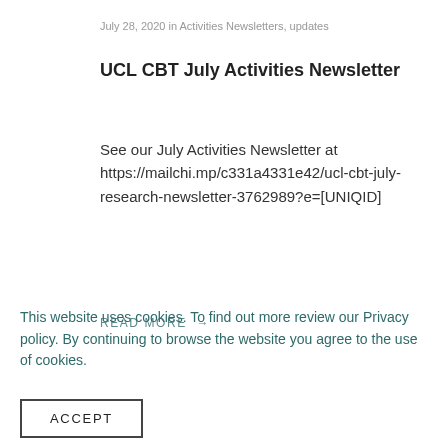July 28, 2020 in Activities Newsletters, updates
UCL CBT July Activities Newsletter
See our July Activities Newsletter at https://mailchi.mp/c331a4331e42/ucl-cbt-july-research-newsletter-3762989?e=[UNIQID]
READ MORE →
This website uses cookies. To find out more review our Privacy policy. By continuing to browse the website you agree to the use of cookies.
ACCEPT